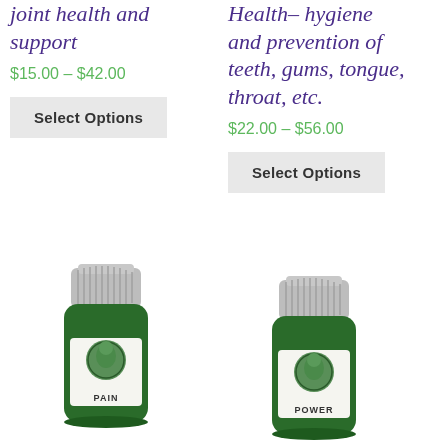joint health and support
$15.00 – $42.00
Select Options
Health– hygiene and prevention of teeth, gums, tongue, throat, etc.
$22.00 – $56.00
Select Options
[Figure (photo): Small green glass dropper/oil bottle with grey cap labeled PAIN with a green emblem]
[Figure (photo): Small green glass dropper/oil bottle with grey cap labeled POWER with a green emblem]